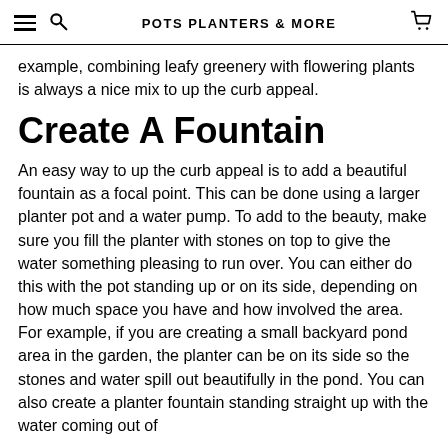POTS PLANTERS & MORE
example, combining leafy greenery with flowering plants is always a nice mix to up the curb appeal.
Create A Fountain
An easy way to up the curb appeal is to add a beautiful fountain as a focal point. This can be done using a larger planter pot and a water pump. To add to the beauty, make sure you fill the planter with stones on top to give the water something pleasing to run over. You can either do this with the pot standing up or on its side, depending on how much space you have and how involved the area. For example, if you are creating a small backyard pond area in the garden, the planter can be on its side so the stones and water spill out beautifully in the pond. You can also create a planter fountain standing straight up with the water coming out of